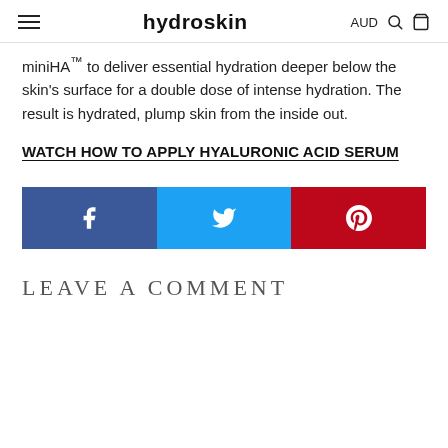hydroskin | AUD
miniHA™ to deliver essential hydration deeper below the skin's surface for a double dose of intense hydration. The result is hydrated, plump skin from the inside out.
WATCH HOW TO APPLY HYALURONIC ACID SERUM
[Figure (infographic): Social sharing bar with three buttons: Facebook (blue), Twitter (cyan), Pinterest (red), each showing the respective icon]
LEAVE A COMMENT